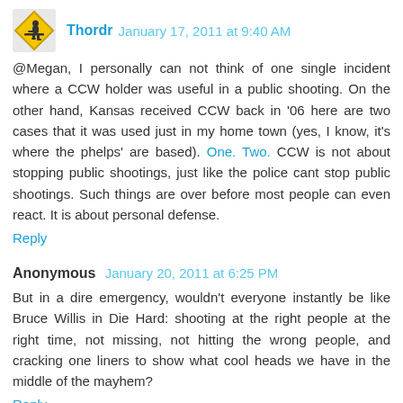Thordr  January 17, 2011 at 9:40 AM
@Megan, I personally can not think of one single incident where a CCW holder was useful in a public shooting. On the other hand, Kansas received CCW back in '06 here are two cases that it was used just in my home town (yes, I know, it's where the phelps' are based). One. Two. CCW is not about stopping public shootings, just like the police cant stop public shootings. Such things are over before most people can even react. It is about personal defense.
Reply
Anonymous  January 20, 2011 at 6:25 PM
But in a dire emergency, wouldn't everyone instantly be like Bruce Willis in Die Hard: shooting at the right people at the right time, not missing, not hitting the wrong people, and cracking one liners to show what cool heads we have in the middle of the mayhem?
Reply